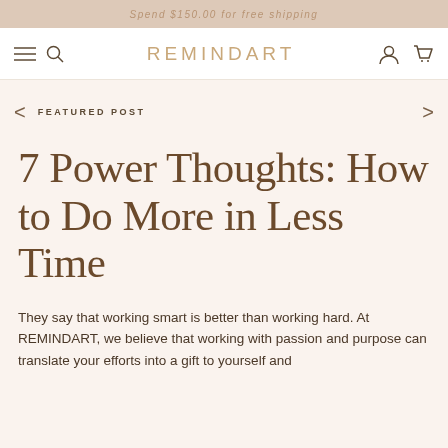Spend $150.00 for free shipping
REMINDART
FEATURED POST
7 Power Thoughts: How to Do More in Less Time
They say that working smart is better than working hard. At REMINDART, we believe that working with passion and purpose can translate your efforts into a gift to yourself and